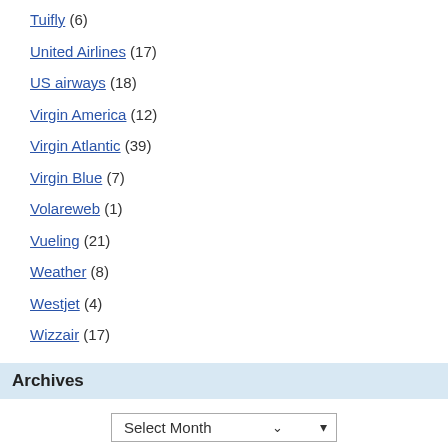Tuifly (6)
United Airlines (17)
US airways (18)
Virgin America (12)
Virgin Atlantic (39)
Virgin Blue (7)
Volareweb (1)
Vueling (21)
Weather (8)
Westjet (4)
Wizzair (17)
Archives
Select Month
Feeds RSS
News
Comments